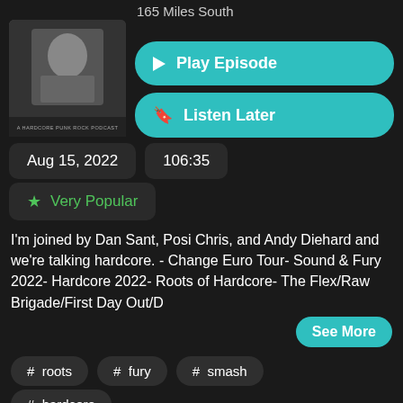165 Miles South
[Figure (photo): Podcast artwork showing a black and white photo of a person, labeled 'A Hardcore Punk Rock Podcast']
▶ Play Episode
🔖 Listen Later
Aug 15, 2022
106:35
★ Very Popular
I'm joined by Dan Sant, Posi Chris, and Andy Diehard and we're talking hardcore. - Change Euro Tour- Sound & Fury 2022- Hardcore 2022- Roots of Hardcore- The Flex/Raw Brigade/First Day Out/D
See More
# roots
# fury
# smash
# hardcore